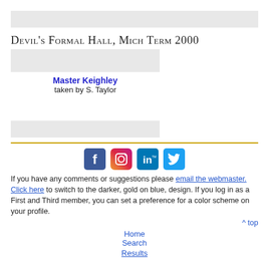Devil's Formal Hall, Mich Term 2000
[Figure (photo): Placeholder image for Devil's Formal Hall photo]
Master Keighley
taken by S. Taylor
[Figure (photo): Second placeholder image]
If you have any comments or suggestions please email the webmaster. Click here to switch to the darker, gold on blue, design. If you log in as a First and Third member, you can set a preference for a color scheme on your profile.
^ top
Home
Search
Results